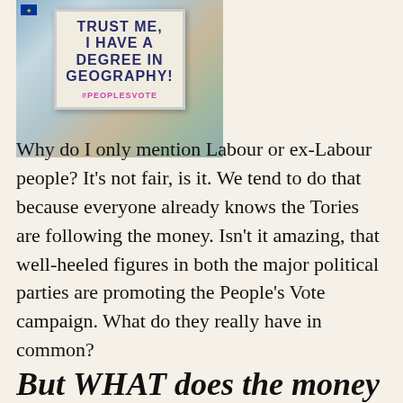[Figure (photo): Protest sign reading 'TRUST ME, I HAVE A DEGREE IN GEOGRAPHY!' with #PEOPLESVOTE hashtag below, EU flag visible, building balcony in background]
Why do I only mention Labour or ex-Labour people? It’s not fair, is it. We tend to do that because everyone already knows the Tories are following the money. Isn’t it amazing, that well-heeled figures in both the major political parties are promoting the People’s Vote campaign. What do they really have in common?
But WHAT does the money